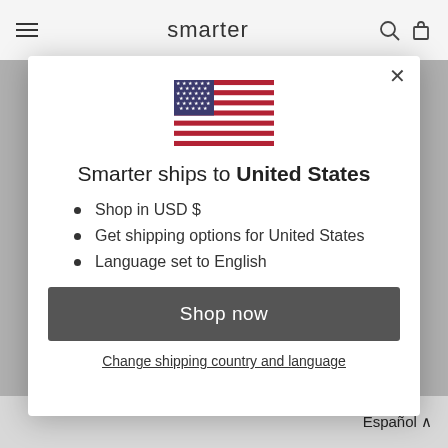smarter
[Figure (illustration): US flag emoji/icon centered in modal]
Smarter ships to United States
Shop in USD $
Get shipping options for United States
Language set to English
Shop now
Change shipping country and language
Español